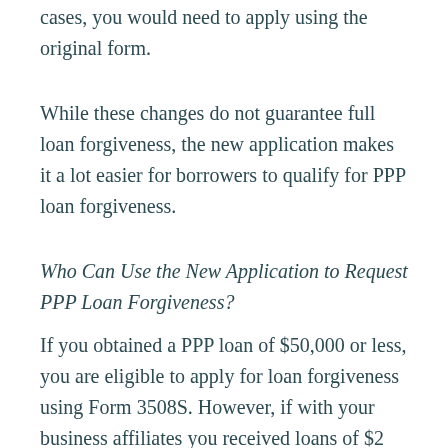cases, you would need to apply using the original form.
While these changes do not guarantee full loan forgiveness, the new application makes it a lot easier for borrowers to qualify for PPP loan forgiveness.
Who Can Use the New Application to Request PPP Loan Forgiveness?
If you obtained a PPP loan of $50,000 or less, you are eligible to apply for loan forgiveness using Form 3508S. However, if with your business affiliates you received loans of $2 million or more, you would not